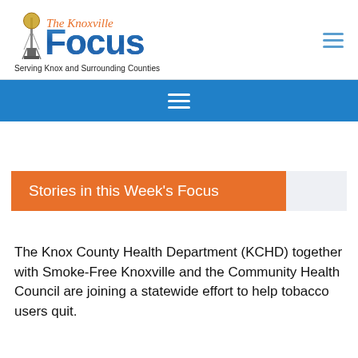[Figure (logo): The Knoxville Focus newspaper logo with Sunsphere tower icon and tagline 'Serving Knox and Surrounding Counties']
Stories in this Week's Focus
The Knox County Health Department (KCHD) together with Smoke-Free Knoxville and the Community Health Council are joining a statewide effort to help tobacco users quit.